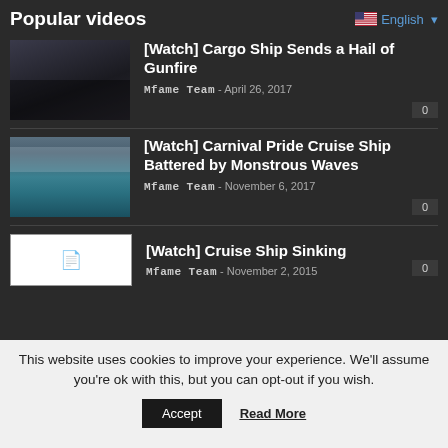Popular videos
[Watch] Cargo Ship Sends a Hail of Gunfire – Mfame Team – April 26, 2017 – 0
[Watch] Carnival Pride Cruise Ship Battered by Monstrous Waves – Mfame Team – November 6, 2017 – 0
[Watch] Cruise Ship Sinking – Mfame Team – November 2, 2015 – 0
This website uses cookies to improve your experience. We'll assume you're ok with this, but you can opt-out if you wish.
Accept  Read More